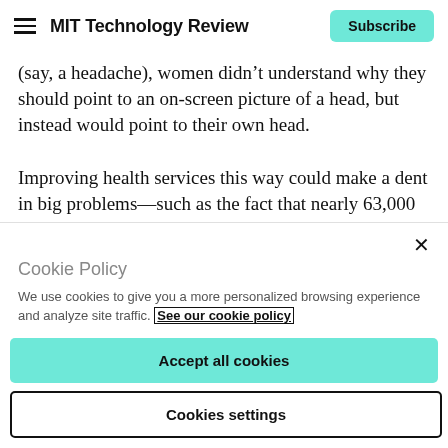MIT Technology Review | Subscribe
(say, a headache), women didn’t understand why they should point to an on-screen picture of a head, but instead would point to their own head.
Improving health services this way could make a dent in big problems—such as the fact that nearly 63,000 women in India die in childbirth every year.
Cookie Policy
We use cookies to give you a more personalized browsing experience and analyze site traffic. See our cookie policy
Accept all cookies
Cookies settings